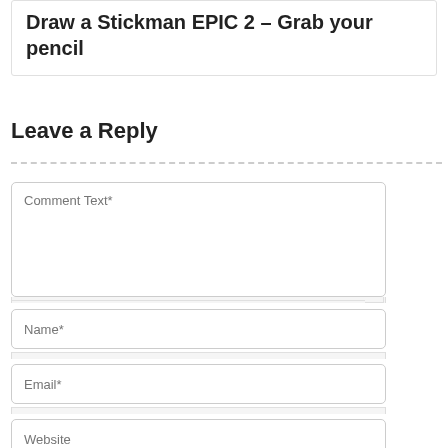Draw a Stickman EPIC 2 – Grab your pencil
Leave a Reply
Comment Text*
Name*
Email*
Website